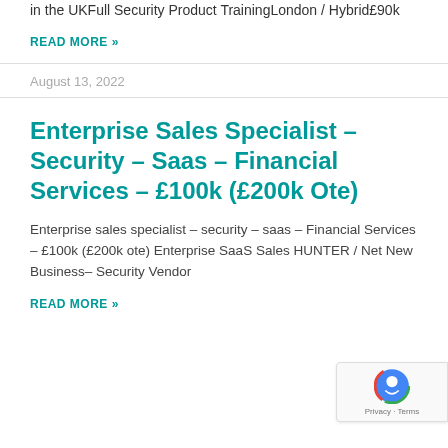in the UKFull Security Product TrainingLondon / Hybrid£90k
READ MORE »
August 13, 2022
Enterprise Sales Specialist – Security – Saas – Financial Services – £100k (£200k Ote)
Enterprise sales specialist – security – saas – Financial Services – £100k (£200k ote) Enterprise SaaS Sales HUNTER / Net New Business– Security Vendor
READ MORE »